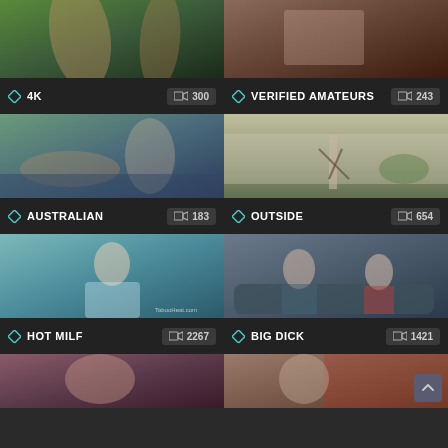[Figure (screenshot): Video thumbnail grid showing adult content category page with thumbnails and labels]
4K  300
VERIFIED AMATEURS  243
AUSTRALIAN  183
OUTSIDE  654
HOT MILF  2267
BIG DICK  1421